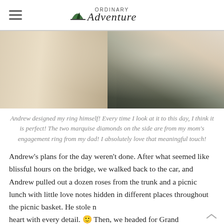ORDINARY Adventure
[Figure (photo): Close-up photo of a hand with an engagement ring, flowers visible in the background]
Andrew designed my ring himself! Every time I look at it to this day, I think it is perfect! The two marquise diamonds on the side are from my mom's engagement ring from my dad! I absolutely love that meaningful touch!
Andrew's plans for the day weren't done. After what seemed like blissful hours on the bridge, we walked back to the car, and Andrew pulled out a dozen roses from the trunk and a picnic lunch with little love notes hidden in different places throughout the picnic basket. He stole my heart with every detail. 🙂 Then, we headed for Grand